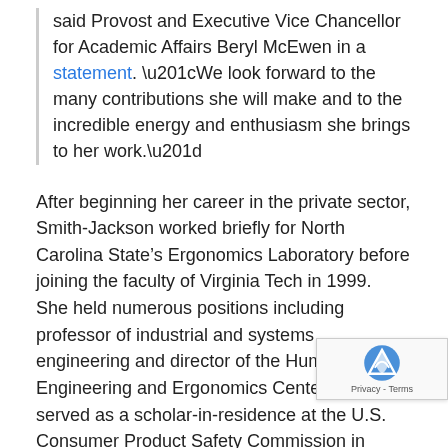said Provost and Executive Vice Chancellor for Academic Affairs Beryl McEwen in a statement. “We look forward to the many contributions she will make and to the incredible energy and enthusiasm she brings to her work.”
After beginning her career in the private sector, Smith-Jackson worked briefly for North Carolina State’s Ergonomics Laboratory before joining the faculty of Virginia Tech in 1999.  She held numerous positions including professor of industrial and systems engineering and director of the Human Factors Engineering and Ergonomics Center. She also served as a scholar-in-residence at the U.S. Consumer Product Safety Commission in Bethesda, Maryland.
She joined A&T in 2013 as professor and chair of the Department of Industrial and Systems Engineering, founder and director of the Human Factors Analytics Laboratory. She later founded and co-directed the